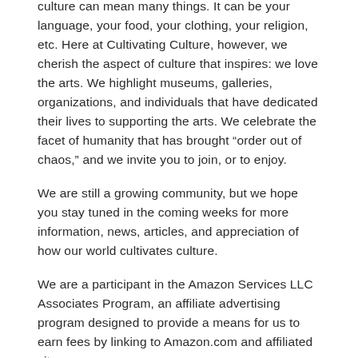culture can mean many things. It can be your language, your food, your clothing, your religion, etc. Here at Cultivating Culture, however, we cherish the aspect of culture that inspires: we love the arts. We highlight museums, galleries, organizations, and individuals that have dedicated their lives to supporting the arts. We celebrate the facet of humanity that has brought “order out of chaos,” and we invite you to join, or to enjoy.
We are still a growing community, but we hope you stay tuned in the coming weeks for more information, news, articles, and appreciation of how our world cultivates culture.
We are a participant in the Amazon Services LLC Associates Program, an affiliate advertising program designed to provide a means for us to earn fees by linking to Amazon.com and affiliated sites.